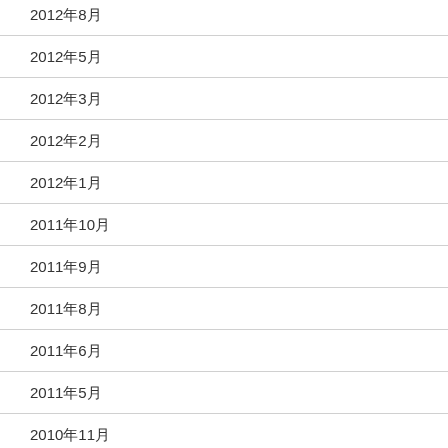2012年8月
2012年5月
2012年3月
2012年2月
2012年1月
2011年10月
2011年9月
2011年8月
2011年6月
2011年5月
2010年11月
2010年…